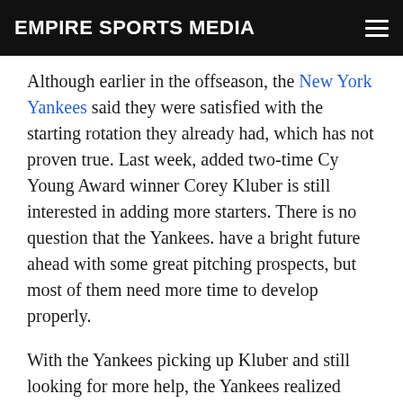EMPIRE SPORTS MEDIA
Although earlier in the offseason, the New York Yankees said they were satisfied with the starting rotation they already had, which has not proven true. Last week, added two-time Cy Young Award winner Corey Kluber is still interested in adding more starters. There is no question that the Yankees. have a bright future ahead with some great pitching prospects, but most of them need more time to develop properly.
With the Yankees picking up Kluber and still looking for more help, the Yankees realized they could not depend on untested and inexperienced arms regardless of what they said earlier. Please don't